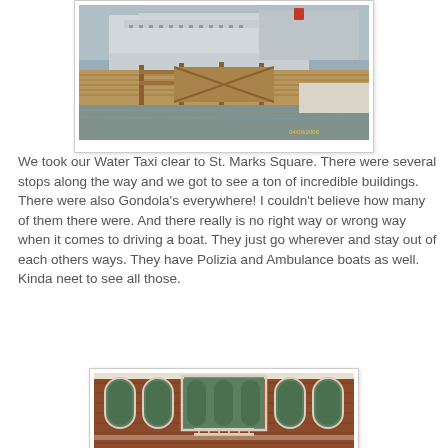[Figure (photo): Photo of a wooden dock/pier with a large cruise ship in the background, moored at a port. Overcast sky, water visible. Timestamp visible in bottom right corner.]
We took our Water Taxi clear to St. Marks Square. There were several stops along the way and we got to see a ton of incredible buildings. There were also Gondola's everywhere! I couldn't believe how many of them there were. And there really is no right way or wrong way when it comes to driving a boat. They just go wherever and stay out of each others ways. They have Polizia and Ambulance boats as well. Kinda neet to see all those.
[Figure (photo): Photo of a historic brick building facade in Venice with arched green windows and ornate white stone trim, showing multiple floors with venetian-style architecture.]